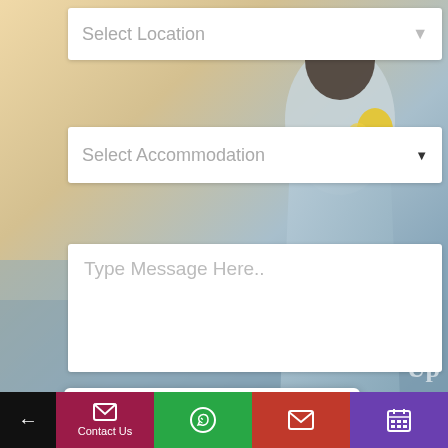[Figure (screenshot): Background beach photo with a person in a blue dress holding something yellow, partly blurred]
Select Location
Select Accommodation
Type Message Here..
[Figure (other): hCaptcha widget with checkbox labeled 'I am human' and hCaptcha logo with Privacy - Terms links]
Submit
Contact Us (bottom navigation bar with back arrow, contact us, whatsapp, email, calendar icons)